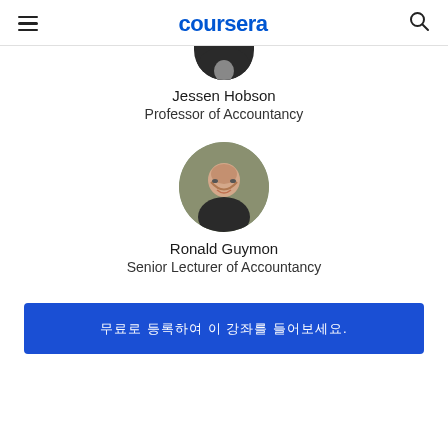coursera
[Figure (photo): Partially visible circular profile photo of Jessen Hobson (top half cropped)]
Jessen Hobson
Professor of Accountancy
[Figure (photo): Circular profile photo of Ronald Guymon, smiling man with short hair]
Ronald Guymon
Senior Lecturer of Accountancy
무료로 등록하여 이 강좌를 들어보세요.